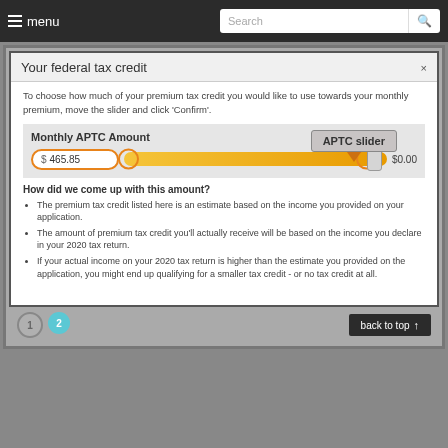menu  Search
Your federal tax credit
To choose how much of your premium tax credit you would like to use towards your monthly premium, move the slider and click 'Confirm'.
Monthly APTC Amount
[Figure (screenshot): A slider control showing $ 465.85 on the left and $0.00 on the right, with an orange-highlighted track. An annotation box labeled 'APTC slider' points with an arrow to the slider thumb.]
How did we come up with this amount?
The premium tax credit listed here is an estimate based on the income you provided on your application.
The amount of premium tax credit you'll actually receive will be based on the income you declare in your 2020 tax return.
If your actual income on your 2020 tax return is higher than the estimate you provided on the application, you might end up qualifying for a smaller tax credit - or no tax credit at all.
1  2  back to top